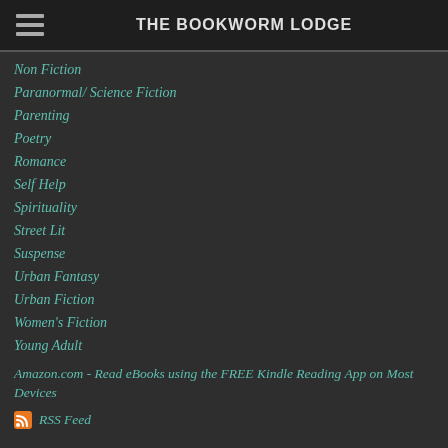THE BOOKWORM LODGE
Non Fiction
Paranormal/ Science Fiction
Parenting
Poetry
Romance
Self Help
Spirituality
Street Lit
Suspense
Urban Fantasy
Urban Fiction
Women's Fiction
Young Adult
Amazon.com - Read eBooks using the FREE Kindle Reading App on Most Devices
RSS Feed